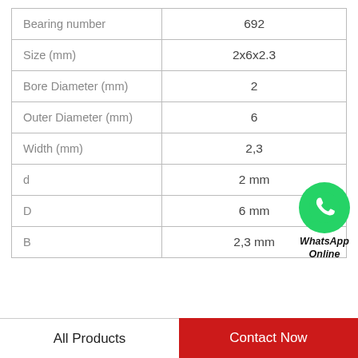| Property | Value |
| --- | --- |
| Bearing number | 692 |
| Size (mm) | 2x6x2.3 |
| Bore Diameter (mm) | 2 |
| Outer Diameter (mm) | 6 |
| Width (mm) | 2,3 |
| d | 2 mm |
| D | 6 mm |
| B | 2,3 mm |
[Figure (logo): WhatsApp green circle logo with phone icon, labeled 'WhatsApp Online' in bold italic text below]
All Products
Contact Now